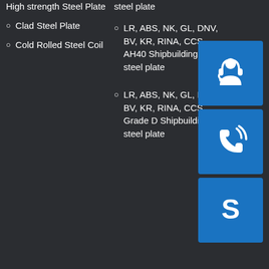High strength Steel Plate
Clad Steel Plate
Cold Rolled Steel Coil
steel plate
LR, ABS, NK, GL, DNV, BV, KR, RINA, CCS AH40 Shipbuilding steel plate
LR, ABS, NK, GL, DNV, BV, KR, RINA, CCS, Grade D Shipbuilding steel plate
[Figure (illustration): Customer service headset icon (white on blue background)]
[Figure (illustration): Phone/call icon (white on blue background)]
[Figure (illustration): Skype icon letter S (white on blue background)]